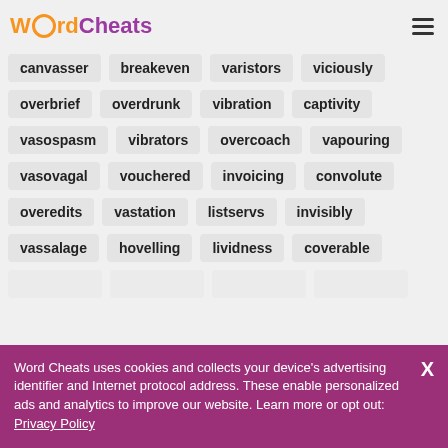Word Cheats
canvasser
breakeven
varistors
viciously
overbrief
overdrunk
vibration
captivity
vasospasm
vibrators
overcoach
vapouring
vasovagal
vouchered
invoicing
convolute
overedits
vastation
listservs
invisibly
vassalage
hovelling
lividness
coverable
Word Cheats uses cookies and collects your device's advertising identifier and Internet protocol address. These enable personalized ads and analytics to improve our website. Learn more or opt out: Privacy Policy